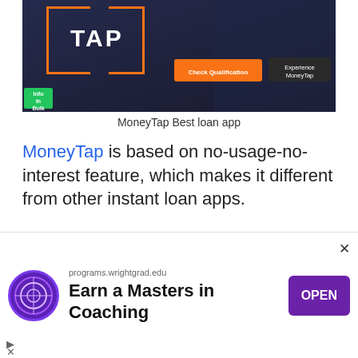[Figure (screenshot): MoneyTap app banner with orange bracket logo, 'TAP' text, 'Check Qualification' orange button, 'Experience MoneyTap' dark button, and 'Info In Bulk' green badge]
MoneyTap Best loan app
MoneyTap is based on no-usage-no-interest feature, which makes it different from other instant loan apps.
This feature makes you pay only for the amount you used. This app is working and servicing in 30+ cities in India.
The only disadvantage is MoneyTap does
[Figure (screenshot): Advertisement banner: programs.wrightgrad.edu - Earn a Masters in Coaching - OPEN button in purple]